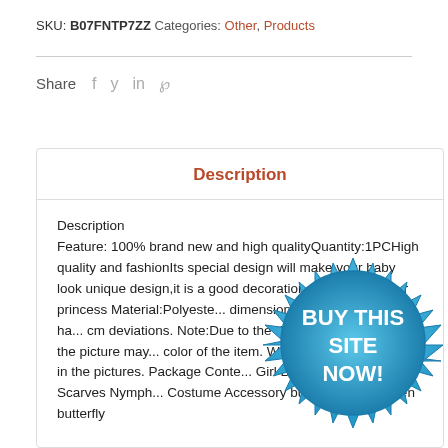SKU: B07FNTP7ZZ  Categories: Other, Products
Share
Description
Description
Feature: 100% brand new and high qualityQuantity:1PCHigh quality and fashionIts special design will make your baby look unique design,it is a good decoration for a p... for your princess Material:Polyeste... dimensions are measured by ha... cm deviations. Note:Due to the diff... different monitors, the picture ma... color of the item. We guarantee th... shown in the pictures. Package Conte... Girl Butterfly Wings Shawl Scarves Nymph... Costume Accessory butterfly wings green butterfly
[Figure (other): Blue starburst badge with text BUY THIS SITE NOW!]